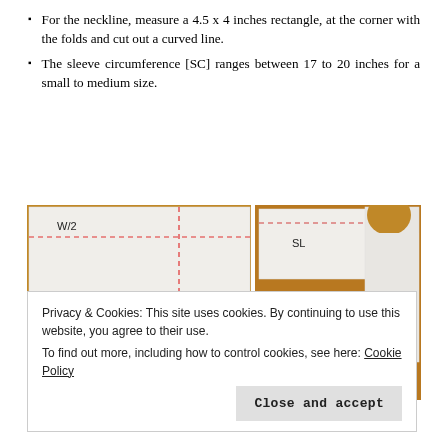For the neckline, measure a 4.5 x 4 inches rectangle, at the corner with the folds and cut out a curved line.
The sleeve circumference [SC] ranges between 17 to 20 inches for a small to medium size.
[Figure (photo): Two photos side by side on a wooden table showing white fabric pieces laid flat. Left photo has dashed pink/red lines marking W/2 horizontally and L x 2 vertically. Right photo shows a fabric piece labeled SL with a neckline cut-out visible.]
Privacy & Cookies: This site uses cookies. By continuing to use this website, you agree to their use.
To find out more, including how to control cookies, see here: Cookie Policy
Close and accept